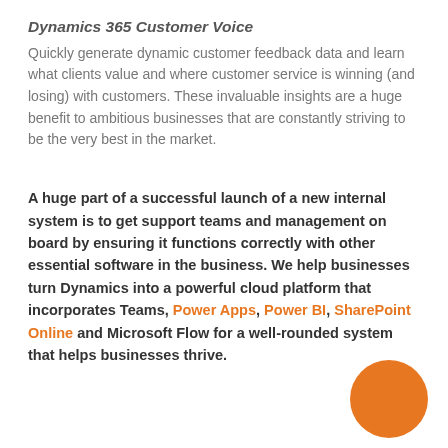Dynamics 365 Customer Voice
Quickly generate dynamic customer feedback data and learn what clients value and where customer service is winning (and losing) with customers. These invaluable insights are a huge benefit to ambitious businesses that are constantly striving to be the very best in the market.
A huge part of a successful launch of a new internal system is to get support teams and management on board by ensuring it functions correctly with other essential software in the business. We help businesses turn Dynamics into a powerful cloud platform that incorporates Teams, Power Apps, Power BI, SharePoint Online and Microsoft Flow for a well-rounded system that helps businesses thrive.
[Figure (illustration): Orange circle decorative element in bottom right corner]